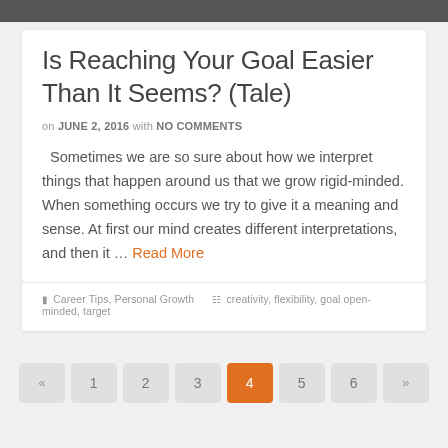Is Reaching Your Goal Easier Than It Seems? (Tale)
on JUNE 2, 2016 with NO COMMENTS
Sometimes we are so sure about how we interpret things that happen around us that we grow rigid-minded. When something occurs we try to give it a meaning and sense. At first our mind creates different interpretations, and then it … Read More
Career Tips, Personal Growth   creativity, flexibility, goal open-minded, target
« 1 2 3 4 5 6 »